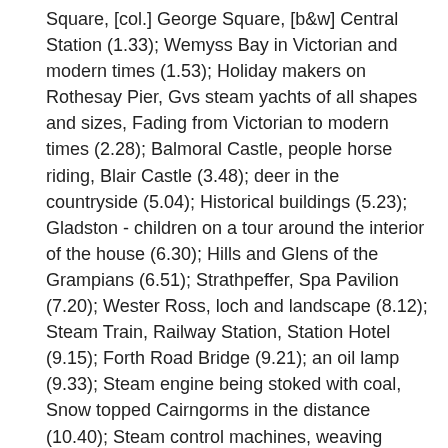Square, [col.] George Square, [b&w] Central Station (1.33); Wemyss Bay in Victorian and modern times (1.53); Holiday makers on Rothesay Pier, Gvs steam yachts of all shapes and sizes, Fading from Victorian to modern times (2.28); Balmoral Castle, people horse riding, Blair Castle (3.48); deer in the countryside (5.04); Historical buildings (5.23); Gladston - children on a tour around the interior of the house (6.30); Hills and Glens of the Grampians (6.51); Strathpeffer, Spa Pavilion (7.20); Wester Ross, loch and landscape (8.12); Steam Train, Railway Station, Station Hotel (9.15); Forth Road Bridge (9.21); an oil lamp (9.33); Steam engine being stoked with coal, Snow topped Cairngorms in the distance (10.40); Steam control machines, weaving factory, malt factory, water mill, cogs turning to pass grain (12.58); East Coast fishing village (13.09); the wooden frame of a boat (13.21); Anstruther Fisheries Museum (14.42); still shots of Glasgow during the Victorian Times (15.11); tracking shots of cranes along the Clydeside (15.30); shot of